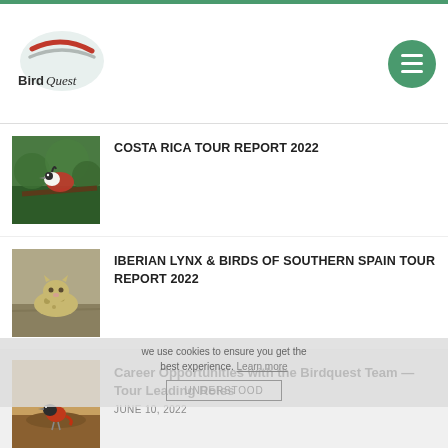BirdQuest
COSTA RICA TOUR REPORT 2022
IBERIAN LYNX & BIRDS OF SOUTHERN SPAIN TOUR REPORT 2022
Career Opportunities with the Birdquest Team — Tour Leading Roles
JUNE 10, 2022
It was the Best of Days...
JUNE 1, 2022